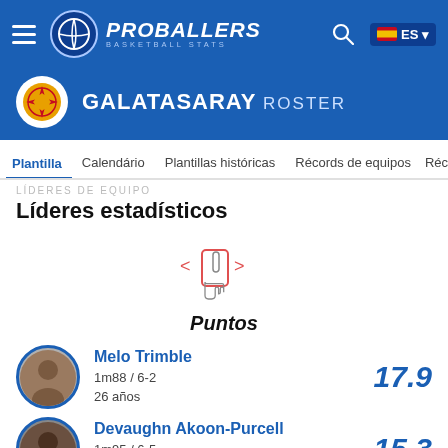PROBALLERS BASKETBALL STATS
GALATASARAY ROSTER
Plantilla   Calendário   Plantillas históricas   Récords de equipos   Récords in
LÍDERES DE EQUIPO
Líderes estadísticos
[Figure (illustration): Swipe gesture icon with left/right arrows and hand pointer]
Puntos
Melo Trimble
1m88 / 6-2
26 años
17.9
Devaughn Akoon-Purcell
1m95 / 6-5
28 años
15.3